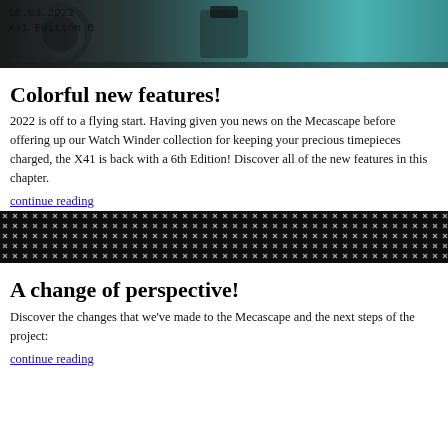[Figure (photo): Close-up photo of watch mechanism parts, teal/dark metallic tones, header image]
16.03.2022
X41 Edition 6
Colorful new features!
2022 is off to a flying start. Having given you news on the Mecascape before offering up our Watch Winder collection for keeping your precious timepieces charged, the X41 is back with a 6th Edition! Discover all of the new features in this chapter.
continue reading
[Figure (photo): Close-up photo of dark woven/mesh watch strap fabric texture, black and white pattern]
A change of perspective!
Discover the changes that we've made to the Mecascape and the next steps of the project:
continue reading